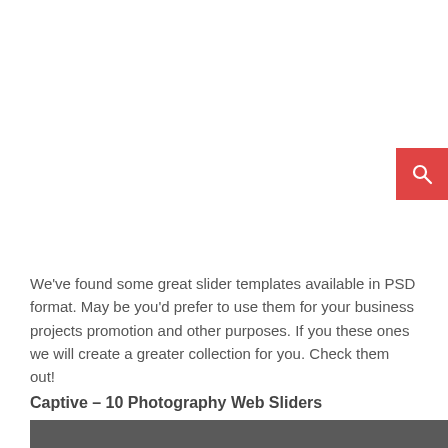[Figure (other): Red search button with magnifying glass icon in upper right area]
We've found some great slider templates available in PSD format. May be you'd prefer to use them for your business projects promotion and other purposes. If you these ones we will create a greater collection for you. Check them out!
Captive – 10 Photography Web Sliders
[Figure (photo): Dark grey/charcoal colored image strip at the bottom of the page]